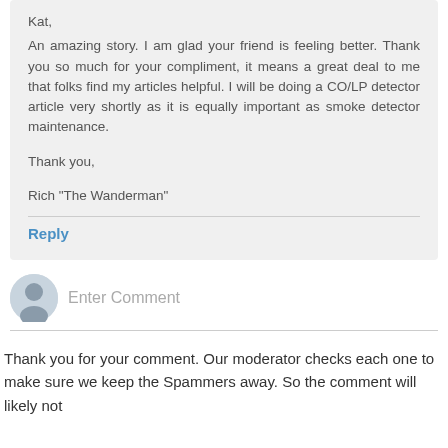Kat,
An amazing story. I am glad your friend is feeling better. Thank you so much for your compliment, it means a great deal to me that folks find my articles helpful. I will be doing a CO/LP detector article very shortly as it is equally important as smoke detector maintenance.

Thank you,

Rich "The Wanderman"
Reply
[Figure (illustration): Gray circular avatar icon with silhouette of a person]
Enter Comment
Thank you for your comment. Our moderator checks each one to make sure we keep the Spammers away. So the comment will likely not